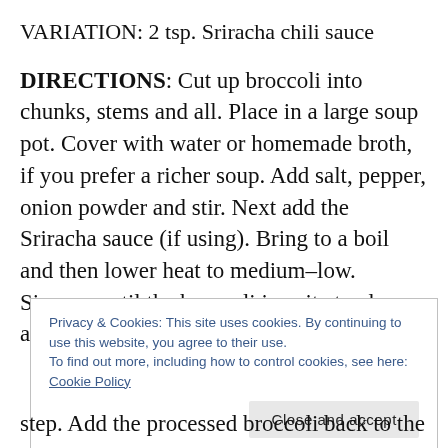VARIATION: 2 tsp. Sriracha chili sauce
DIRECTIONS: Cut up broccoli into chunks, stems and all. Place in a large soup pot. Cover with water or homemade broth, if you prefer a richer soup. Add salt, pepper, onion powder and stir. Next add the Sriracha sauce (if using). Bring to a boil and then lower heat to medium–low. Simmer until the broccoli is quite tender and then remove from heat. You can either
Privacy & Cookies: This site uses cookies. By continuing to use this website, you agree to their use. To find out more, including how to control cookies, see here: Cookie Policy
Close and accept
step. Add the processed broccoli back to the